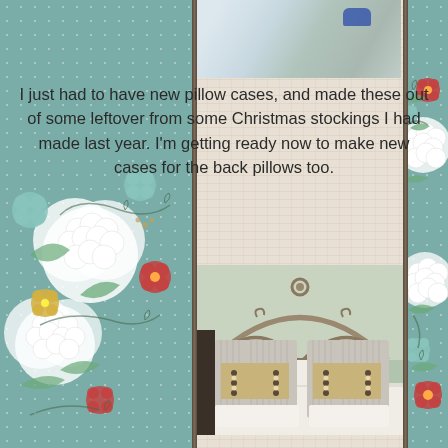[Figure (photo): Scrapbook-style page with teal polka dot border background, floral decorations on left and right sides, a linen-textured center panel, a partial photo at top showing fabric/bedding, and a photo of a bed with two decorative pillows against a metal headboard.]
I just had to have new pillow cases, and made these out of some leftover from some Christmas stockings I had made last year. I'm getting ready now to make new cases for the back pillows too.